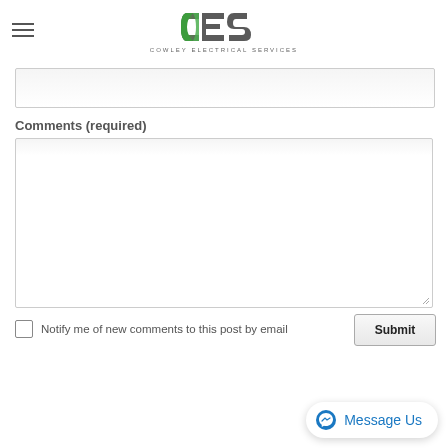CES - Cowley Electrical Services
Comments (required)
Notify me of new comments to this post by email
Submit
[Figure (logo): Messenger chat button with text 'Message Us']